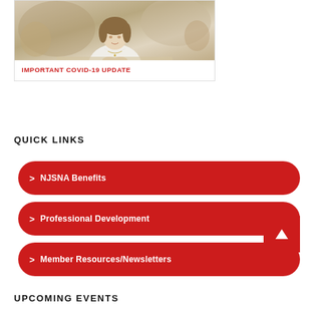[Figure (photo): A woman in a white blouse seated at a table with hands clasped, blurred background]
IMPORTANT COVID-19 UPDATE
QUICK LINKS
> NJSNA Benefits
> Professional Development
> Member Resources/Newsletters
UPCOMING EVENTS